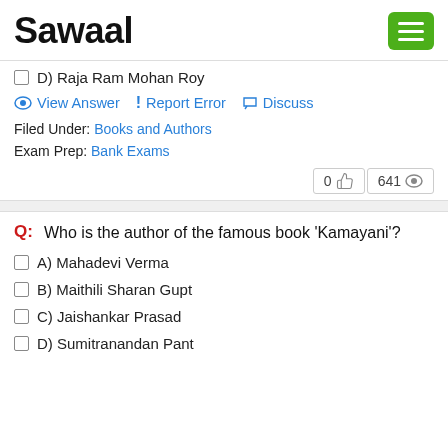Sawaal
D) Raja Ram Mohan Roy
View Answer | Report Error | Discuss
Filed Under: Books and Authors
Exam Prep: Bank Exams
0 👍  641 👁
Q: Who is the author of the famous book 'Kamayani'?
A) Mahadevi Verma
B) Maithili Sharan Gupt
C) Jaishankar Prasad
D) Sumitranandan Pant